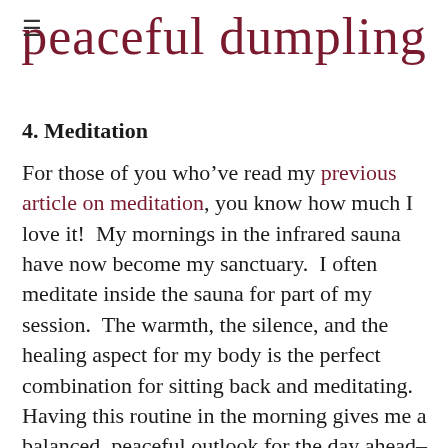peaceful dumpling
4. Meditation
For those of you who've read my previous article on meditation, you know how much I love it!  My mornings in the infrared sauna have now become my sanctuary.  I often meditate inside the sauna for part of my session.  The warmth, the silence, and the healing aspect for my body is the perfect combination for sitting back and meditating.  Having this routine in the morning gives me a balanced, peaceful outlook for the day ahead–not to mention a boost of patience and happiness, which I assure you my husband thoroughly enjoys!